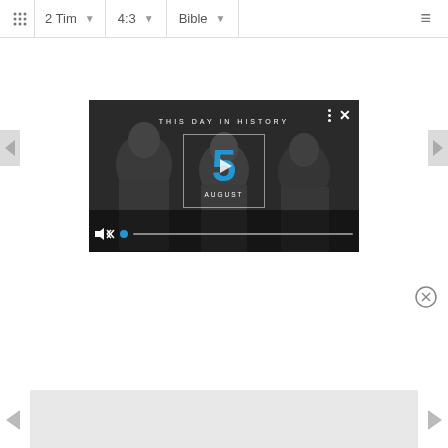2 Tim | 4:3 | Bible
[Figure (screenshot): Video player overlay showing 'THIS DAY IN HISTORY' with a large blue number 5, AUGUST, play button, mute icon, and progress bar, over a dark grayscale background image of people.]